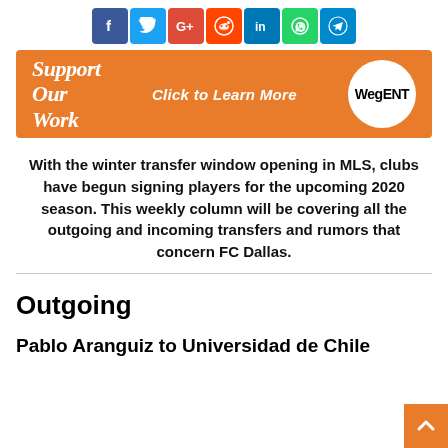[Figure (other): Social media share icons: Facebook, Twitter, Google+, Reddit, LinkedIn, WhatsApp, Telegram]
[Figure (other): Orange banner ad reading 'Support Our Work — Click to Learn More — WegENT logo']
With the winter transfer window opening in MLS, clubs have begun signing players for the upcoming 2020 season. This weekly column will be covering all the outgoing and incoming transfers and rumors that concern FC Dallas.
Outgoing
Pablo Aranguiz to Universidad de Chile